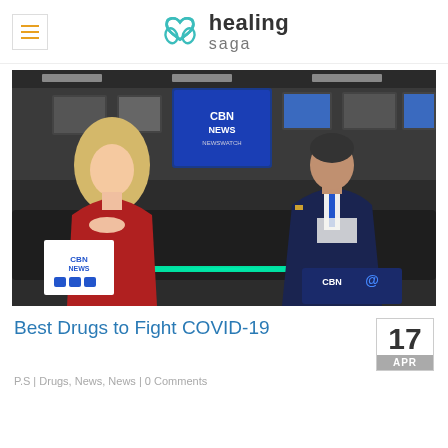healing saga
[Figure (photo): CBN News Newswatch TV studio segment with two people seated across a dark desk — a blonde woman in red on the left and a man in a dark suit on the right. CBN News logo visible in the lower left corner and on a screen in the background.]
Best Drugs to Fight COVID-19
P.S | Drugs, News, News | 0 Comments